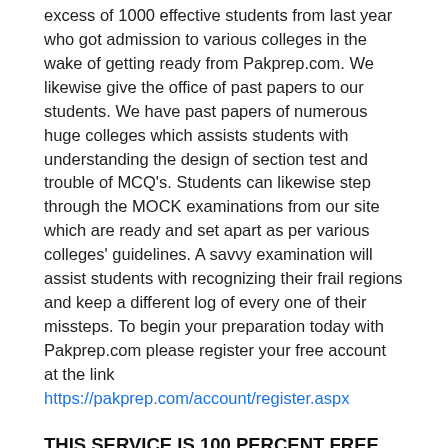excess of 1000 effective students from last year who got admission to various colleges in the wake of getting ready from Pakprep.com. We likewise give the office of past papers to our students. We have past papers of numerous huge colleges which assists students with understanding the design of section test and trouble of MCQ's. Students can likewise step through the MOCK examinations from our site which are ready and set apart as per various colleges' guidelines. A savvy examination will assist students with recognizing their frail regions and keep a different log of every one of their missteps. To begin your preparation today with Pakprep.com please register your free account at the link https://pakprep.com/account/register.aspx
THIS SERVICE IS 100 PERCENT FREE.
10 REASONS WHY YOU SHOULD PREPARE FROM PAKPREP.COM